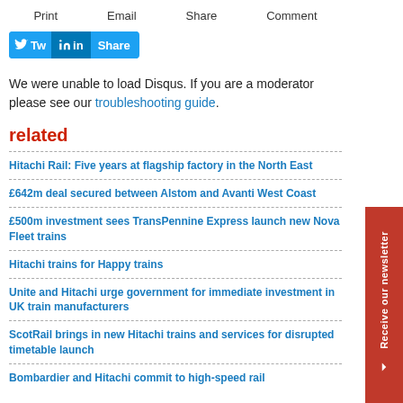Print   Email   Share   Comment
[Figure (other): Social share buttons: Twitter (Tw) and LinkedIn (in) Share button]
We were unable to load Disqus. If you are a moderator please see our troubleshooting guide.
related
Hitachi Rail: Five years at flagship factory in the North East
£642m deal secured between Alstom and Avanti West Coast
£500m investment sees TransPennine Express launch new Nova Fleet trains
Hitachi trains for Happy trains
Unite and Hitachi urge government for immediate investment in UK train manufacturers
ScotRail brings in new Hitachi trains and services for disrupted timetable launch
Bombardier and Hitachi commit to high-speed rail